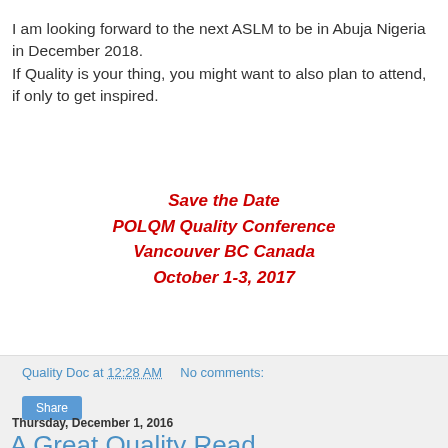I am looking forward to the next ASLM to be in Abuja Nigeria in December 2018. If Quality is your thing, you might want to also plan to attend, if only to get inspired.
Save the Date
POLQM Quality Conference
Vancouver BC Canada
October 1-3, 2017
Quality Doc at 12:28 AM   No comments:
Share
Thursday, December 1, 2016
A Great Quality Read